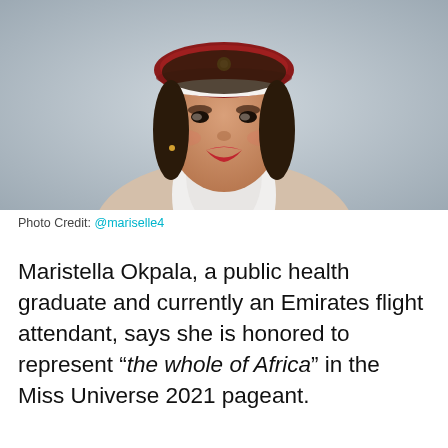[Figure (photo): Portrait of Maristella Okpala in Emirates flight attendant uniform — red hat, white scarf, beige jacket, red lipstick, smiling, against a grey background.]
Photo Credit: @mariselle4
Maristella Okpala, a public health graduate and currently an Emirates flight attendant, says she is honored to represent "the whole of Africa" in the Miss Universe 2021 pageant.